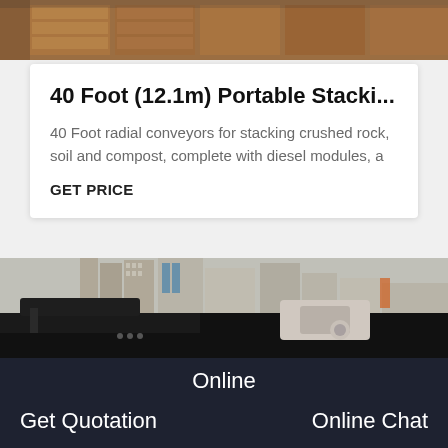[Figure (photo): Top photo showing wooden pallets or industrial storage with warm brown tones]
40 Foot (12.1m) Portable Stacki...
40 Foot radial conveyors for stacking crushed rock, soil and compost, complete with diesel modules, a
GET PRICE
[Figure (photo): Industrial machinery (jaw crusher or similar heavy equipment) in foreground with city buildings in background]
Online
Get Quotation
Online Chat